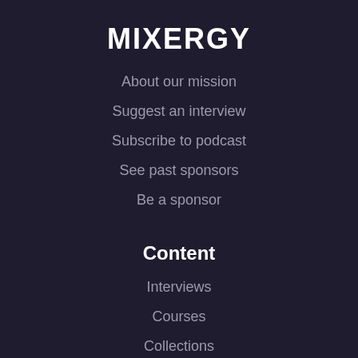MIXERGY
About our mission
Suggest an interview
Subscribe to podcast
See past sponsors
Be a sponsor
Content
Interviews
Courses
Collections